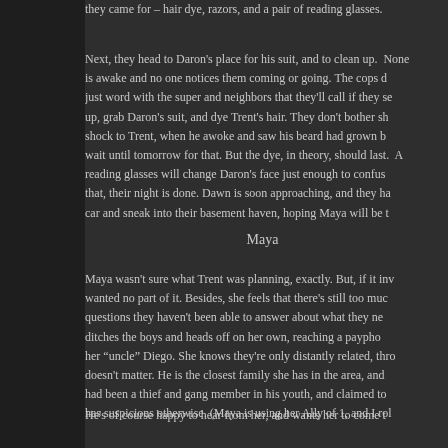they came for – hair dye, razors, and a pair of reading glasses.
Next, they head to Daron's place for his suit, and to clean up. No one is awake and no one notices them coming or going. The cops didn't just word with the super and neighbors that they'll call if they see them up, grab Daron's suit, and dye Trent's hair. They don't bother shaving shock to Trent, when he awoke and saw his beard had grown but we'll wait until tomorrow for that. But the dye, in theory, should last. And the reading glasses will change Daron's face just enough to confuse. With that, their night is done. Dawn is soon approaching, and they have to car and sneak into their basement haven, hoping Maya will be there.
Maya
Maya wasn't sure what Trent was planning, exactly. But, if it involved wanted no part of it. Besides, she feels that there's still too much questions they haven't been able to answer about what they need to do. She ditches the boys and heads off on her own, reaching a payphone to call her "uncle" Diego. She knows they're only distantly related, through doesn't matter. He is the closest family she has in the area, and had been a thief and gang member in his youth, and claimed to has suspicions otherwise. (Maya is using her Ally of 1, and I roll
He's of course happy to hear from her, and wants her to come to